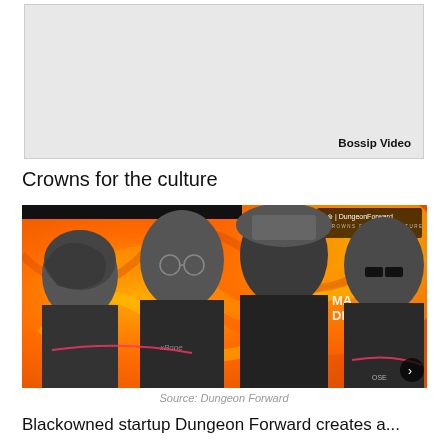[Figure (other): Gray placeholder video box with 'Bossip Video' label at bottom right]
Crowns for the culture
[Figure (photo): Promotional image for 'Crowns for the Culture' by Dungeon Forward. Orange and yellow swirly graffiti background with four Black artists in black-and-white portrait style. Top right has a logo reading 'Dungeon Forward / Crowns for the Culture'. Bottom right shows a navigation arrow.]
Source: Dungeon Forward
Blackowned startup Dungeon Forward creates a...